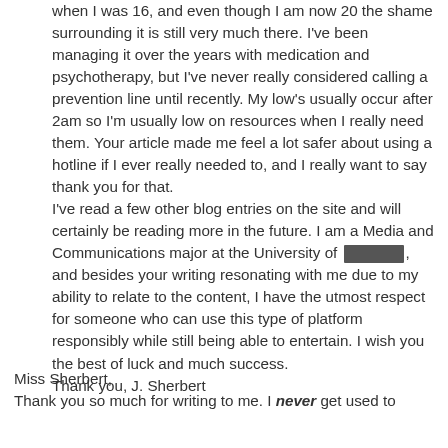when I was 16, and even though I am now 20 the shame surrounding it is still very much there. I've been managing it over the years with medication and psychotherapy, but I've never really considered calling a prevention line until recently. My low's usually occur after 2am so I'm usually low on resources when I really need them. Your article made me feel a lot safer about using a hotline if I ever really needed to, and I really want to say thank you for that.
I've read a few other blog entries on the site and will certainly be reading more in the future. I am a Media and Communications major at the University of [REDACTED], and besides your writing resonating with me due to my ability to relate to the content, I have the utmost respect for someone who can use this type of platform responsibly while still being able to entertain. I wish you the best of luck and much success.
Thank you, J. Sherbert
Miss Sherbert,
Thank you so much for writing to me. I never get used to